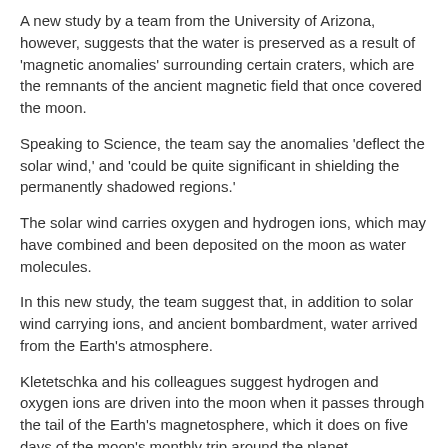A new study by a team from the University of Arizona, however, suggests that the water is preserved as a result of 'magnetic anomalies' surrounding certain craters, which are the remnants of the ancient magnetic field that once covered the moon.
Speaking to Science, the team say the anomalies 'deflect the solar wind,' and 'could be quite significant in shielding the permanently shadowed regions.'
The solar wind carries oxygen and hydrogen ions, which may have combined and been deposited on the moon as water molecules.
In this new study, the team suggest that, in addition to solar wind carrying ions, and ancient bombardment, water arrived from the Earth's atmosphere.
Kletetschka and his colleagues suggest hydrogen and oxygen ions are driven into the moon when it passes through the tail of the Earth's magnetosphere, which it does on five days of the moon's monthly trip around the planet.